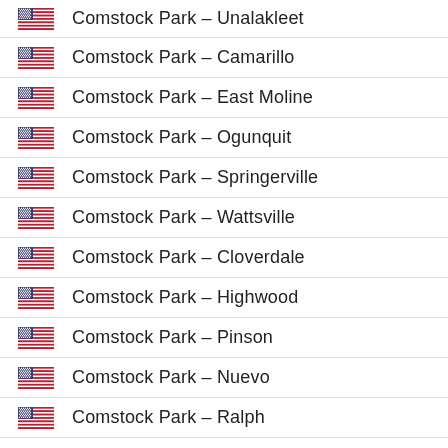Comstock Park – Unalakleet
Comstock Park – Camarillo
Comstock Park – East Moline
Comstock Park – Ogunquit
Comstock Park – Springerville
Comstock Park – Wattsville
Comstock Park – Cloverdale
Comstock Park – Highwood
Comstock Park – Pinson
Comstock Park – Nuevo
Comstock Park – Ralph